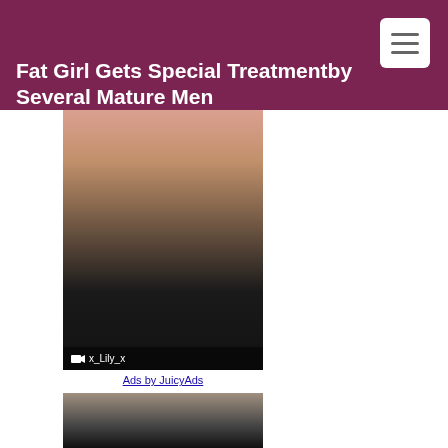Fat Girl Gets Special Treatmentby Several Mature Men
[Figure (photo): Advertisement image showing a person in black lace lingerie with overlay text showing webcam icon and username x_Lily_x]
Ads by JuicyAds
[Figure (photo): Partial advertisement image at bottom of page, dark/blurred]